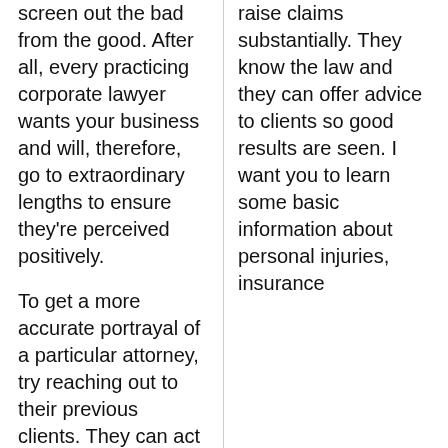screen out the bad from the good. After all, every practicing corporate lawyer wants your business and will, therefore, go to extraordinary lengths to ensure they're perceived positively.
To get a more accurate portrayal of a particular attorney, try reaching out to their previous clients. They can act as valuable resources when you want to learn insightful information, such as legal fees, services provided, and overall client satisfaction. Knowing this information helps you find professional attorneys instead of ones that offer bad
raise claims substantially. They know the law and they can offer advice to clients so good results are seen. I want you to learn some basic information about personal injuries, insurance